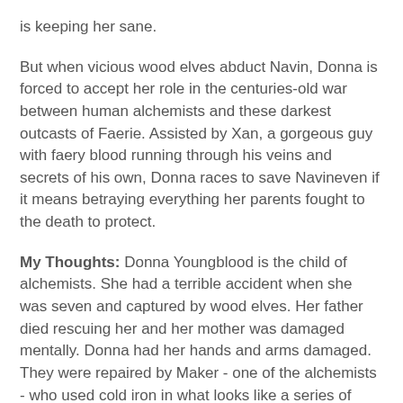is keeping her sane.
But when vicious wood elves abduct Navin, Donna is forced to accept her role in the centuries-old war between human alchemists and these darkest outcasts of Faerie. Assisted by Xan, a gorgeous guy with faery blood running through his veins and secrets of his own, Donna races to save Navineven if it means betraying everything her parents fought to the death to protect.
My Thoughts: Donna Youngblood is the child of alchemists. She had a terrible accident when she was seven and captured by wood elves. Her father died rescuing her and her mother was damaged mentally. Donna had her hands and arms damaged. They were repaired by Maker - one of the alchemists - who used cold iron in what looks like a series of very complicated tattoos. She always wears gloves and feels like a freak.
She couldn't handle going to regular school and has been home-schooled for years. Her best, and only, friend is her next door neighbor Navin Sharma. But she has been